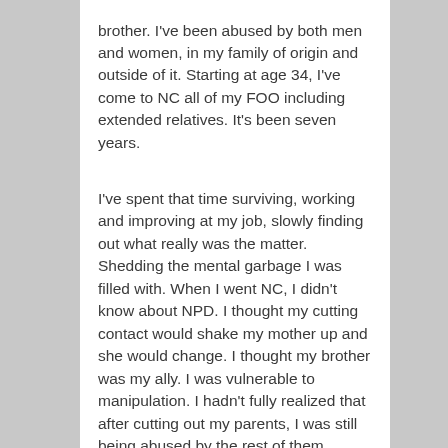brother. I've been abused by both men and women, in my family of origin and outside of it. Starting at age 34, I've come to NC all of my FOO including extended relatives. It's been seven years.

I've spent that time surviving, working and improving at my job, slowly finding out what really was the matter. Shedding the mental garbage I was filled with. When I went NC, I didn't know about NPD. I thought my cutting contact would shake my mother up and she would change. I thought my brother was my ally. I was vulnerable to manipulation. I hadn't fully realized that after cutting out my parents, I was still being abused by the rest of them.